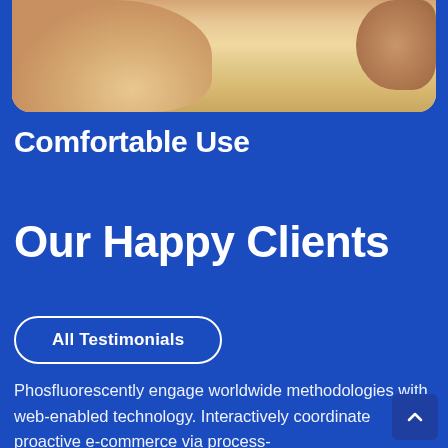[Figure (photo): Close-up photo of a baby or young child, showing chin/neck area with a hand visible at right, cropped at top of page with rounded bottom corners.]
Comfortable Use
Our Happy Clients
All Testimonials
Phosfluorescently engage worldwide methodologies with web-enabled technology. Interactively coordinate proactive e-commerce via process-